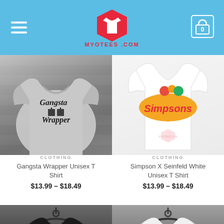MYOTEES.COM
[Figure (photo): Black and white photo of a gray t-shirt with 'Gangsta Wrapper' gothic text and gift box graphics]
CLOTHING
Gangsta Wrapper Unisex T Shirt
$13.99 – $18.49
[Figure (photo): White t-shirt with Simpsons x Seinfeld graphic design]
CLOTHING
Simpson X Seinfeld White Unisex T Shirt
$13.99 – $18.49
[Figure (photo): Dark navy/black t-shirt on hanger against gray wall, with New badge]
[Figure (photo): White t-shirt on hanger against gray wall, with New badge]